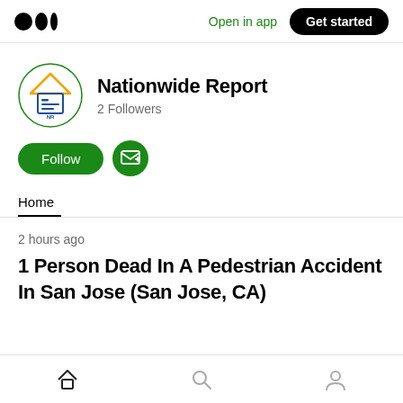Medium logo | Open in app | Get started
[Figure (logo): Nationwide Report publication avatar with triangle/house icon]
Nationwide Report
2 Followers
Follow
Home
2 hours ago
1 Person Dead In A Pedestrian Accident In San Jose (San Jose, CA)
Home | Search | Profile